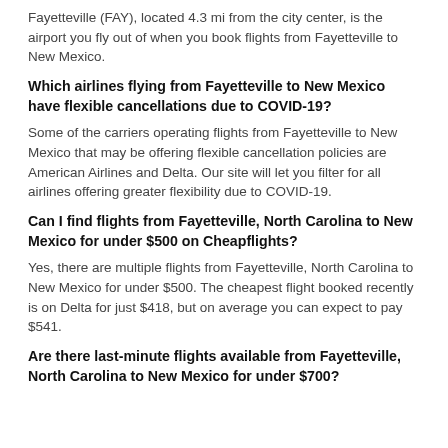Fayetteville (FAY), located 4.3 mi from the city center, is the airport you fly out of when you book flights from Fayetteville to New Mexico.
Which airlines flying from Fayetteville to New Mexico have flexible cancellations due to COVID-19?
Some of the carriers operating flights from Fayetteville to New Mexico that may be offering flexible cancellation policies are American Airlines and Delta. Our site will let you filter for all airlines offering greater flexibility due to COVID-19.
Can I find flights from Fayetteville, North Carolina to New Mexico for under $500 on Cheapflights?
Yes, there are multiple flights from Fayetteville, North Carolina to New Mexico for under $500. The cheapest flight booked recently is on Delta for just $418, but on average you can expect to pay $541.
Are there last-minute flights available from Fayetteville, North Carolina to New Mexico for under $700?